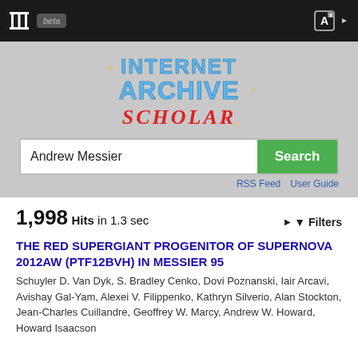Internet Archive Scholar beta — navigation bar
[Figure (logo): Internet Archive Scholar logo with stylized retro text: INTERNET ARCHIVE in blue metallic letters, SCHOLAR in red script, on gray background with decorative stars]
Andrew Messier
RSS Feed   User Guide
1,998 Hits in 1.3 sec
Filters
THE RED SUPERGIANT PROGENITOR OF SUPERNOVA 2012aw (PTF12bvh) IN MESSIER 95
Schuyler D. Van Dyk, S. Bradley Cenko, Dovi Poznanski, Iair Arcavi, Avishay Gal-Yam, Alexei V. Filippenko, Kathryn Silverio, Alan Stockton, Jean-Charles Cuillandre, Geoffrey W. Marcy, Andrew W. Howard, Howard Isaacson